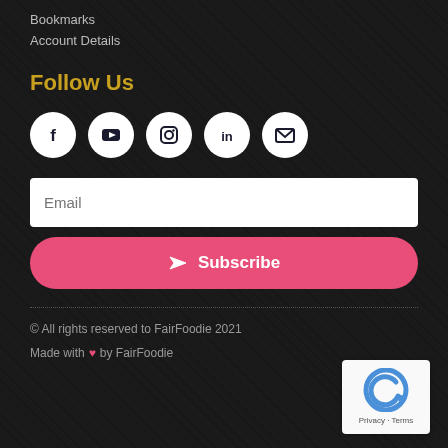Bookmarks
Account Details
Follow Us
[Figure (other): Social media icons: Facebook, YouTube, Instagram, LinkedIn, Email in white circles]
Email (input field placeholder)
Subscribe (button)
© All rights reserved to FairFoodie 2021
Made with ❤ by FairFoodie
[Figure (logo): reCAPTCHA badge with Privacy · Terms text]